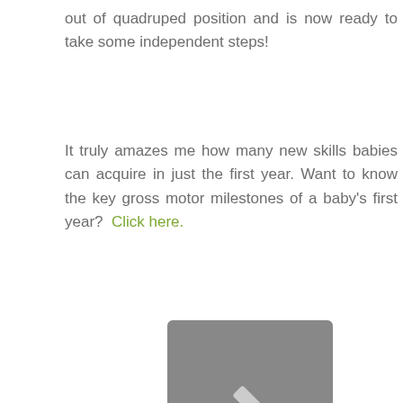out of quadruped position and is now ready to take some independent steps!
It truly amazes me how many new skills babies can acquire in just the first year. Want to know the key gross motor milestones of a baby's first year?  Click here.
[Figure (illustration): Gray rounded square placeholder with a white pencil/edit icon in the center]